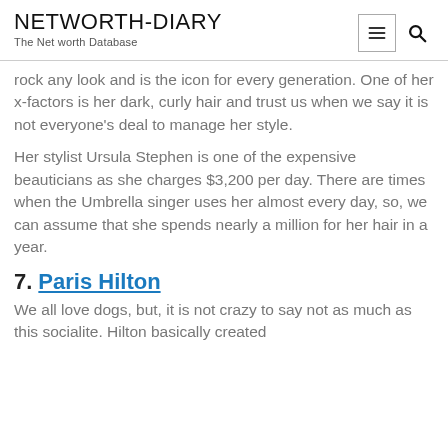NETWORTH-DIARY
The Net worth Database
rock any look and is the icon for every generation. One of her x-factors is her dark, curly hair and trust us when we say it is not everyone's deal to manage her style.
Her stylist Ursula Stephen is one of the expensive beauticians as she charges $3,200 per day. There are times when the Umbrella singer uses her almost every day, so, we can assume that she spends nearly a million for her hair in a year.
7. Paris Hilton
We all love dogs, but, it is not crazy to say not as much as this socialite. Hilton basically created